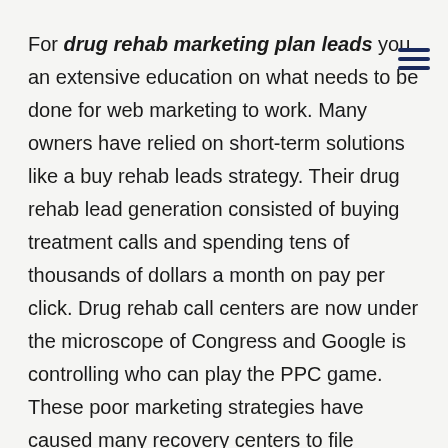For drug rehab marketing plan leads you an extensive education on what needs to be done for web marketing to work. Many owners have relied on short-term solutions like a buy rehab leads strategy. Their drug rehab lead generation consisted of buying treatment calls and spending tens of thousands of dollars a month on pay per click. Drug rehab call centers are now under the microscope of Congress and Google is controlling who can play the PPC game. These poor marketing strategies have caused many recovery centers to file bankruptcy or close their doors.
Recovery center owners need to know what to put into place that produces treatment calls or referrals. This starts